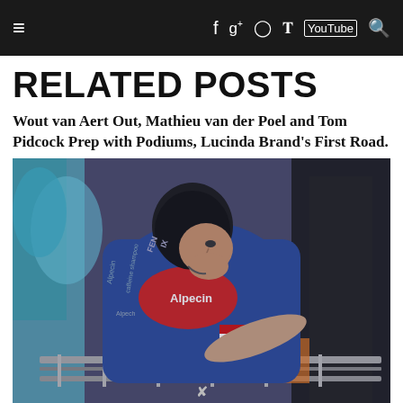≡  f  g+  ⊙  🐦  ▶  🔍
RELATED POSTS
Wout van Aert Out, Mathieu van der Poel and Tom Pidcock Prep with Podiums, Lucinda Brand's First Road.
[Figure (photo): A cyclist in a blue Alpecin team jersey leaning forward on a bike, racing through a crowd, wearing a black helmet. Shot from close up, showing the rider's concentration and effort.]